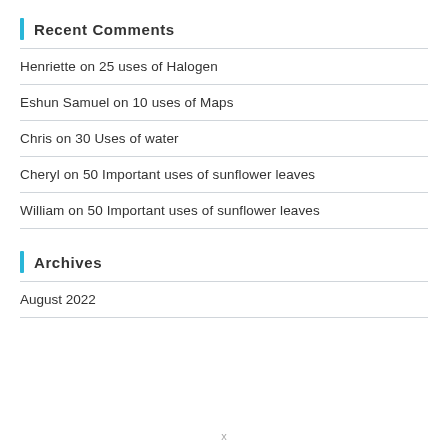Recent Comments
Henriette on 25 uses of Halogen
Eshun Samuel on 10 uses of Maps
Chris on 30 Uses of water
Cheryl on 50 Important uses of sunflower leaves
William on 50 Important uses of sunflower leaves
Archives
August 2022